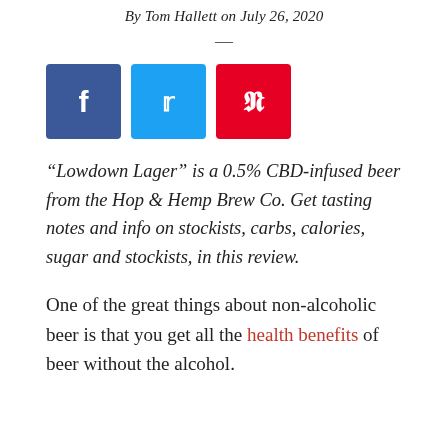By Tom Hallett on July 26, 2020
[Figure (infographic): Social share buttons: Facebook (blue), Twitter (light blue), Pinterest (red)]
“Lowdown Lager” is a 0.5% CBD-infused beer from the Hop & Hemp Brew Co. Get tasting notes and info on stockists, carbs, calories, sugar and stockists, in this review.
One of the great things about non-alcoholic beer is that you get all the health benefits of beer without the alcohol.